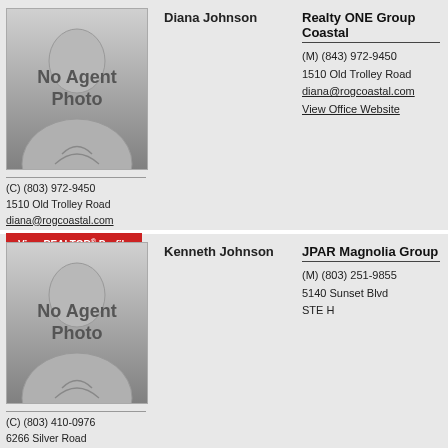[Figure (photo): No Agent Photo placeholder image for Diana Johnson]
Diana Johnson
(C) (803) 972-9450
1510 Old Trolley Road
diana@rogcoastal.com
View REALTOR® Profile
Realty ONE Group Coastal
(M) (843) 972-9450
1510 Old Trolley Road
diana@rogcoastal.com
View Office Website
[Figure (photo): No Agent Photo placeholder image for Kenneth Johnson]
Kenneth Johnson
(C) (803) 410-0976
6266 Silver Road
kenjohnson@jpar.net
View REALTOR® Profile
JPAR Magnolia Group
(M) (803) 251-9855
5140 Sunset Blvd
STE H